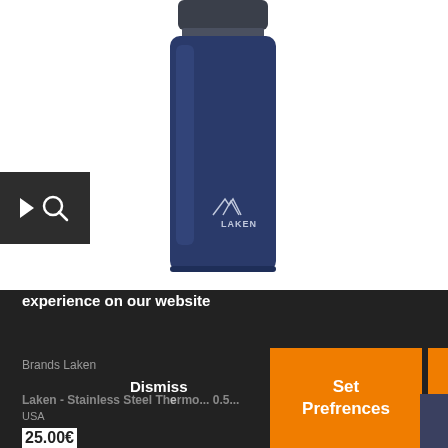[Figure (photo): A navy blue Laken stainless steel thermos/water bottle with dark gray cap, showing the Laken mountain logo on the bottle body]
[Figure (other): Dark gray search/magnify icon button in top left area]
This website uses cookies to ensure you get the best experience on our website
Brands Laken
Dismiss
Laken - Stainless Steel Thermo... 0.5...
USA
25.00€
Set Prefrences
Allow Cookies